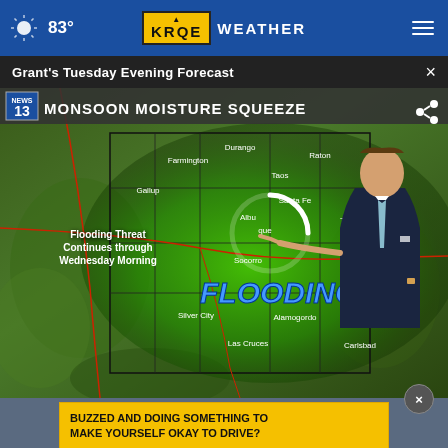83° KRQE WEATHER
Grant's Tuesday Evening Forecast
[Figure (screenshot): Weather broadcast screenshot showing a meteorologist standing in front of a map of New Mexico highlighted in green indicating monsoon moisture. Text on screen reads 'MONSOON MOISTURE SQUEEZE' at the top with 'NEWS 13' logo. Map shows cities including Durango, Farmington, Raton, Taos, Gallup, Santa Fe, Tucson, Albuquerque, Socorro, Roswell, Silver City, Alamogordo, Las Cruces, Carlsbad. Text overlay reads 'Flooding Threat Continues through Wednesday Morning' and 'FLOODING' in large blue italic text. A loading spinner is visible.]
BUZZED AND DOING SOMETHING TO MAKE YOURSELF OKAY TO DRIVE?